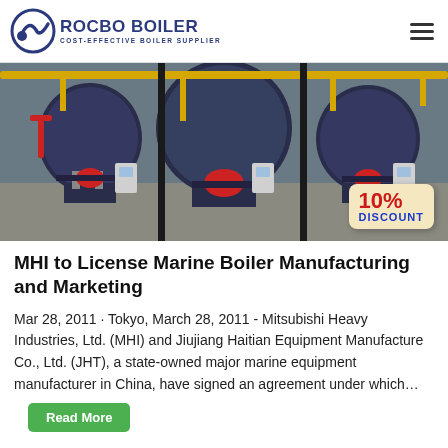ROCBO BOILER — COST-EFFECTIVE BOILER SUPPLIER
[Figure (photo): Industrial boiler facility showing three large cylindrical blue boilers with red burners, yellow piping overhead, and control panels. A '10% DISCOUNT' badge is overlaid on the bottom right.]
MHI to License Marine Boiler Manufacturing and Marketing
Mar 28, 2011 · Tokyo, March 28, 2011 - Mitsubishi Heavy Industries, Ltd. (MHI) and Jiujiang Haitian Equipment Manufacture Co., Ltd. (JHT), a state-owned major marine equipment manufacturer in China, have signed an agreement under which…